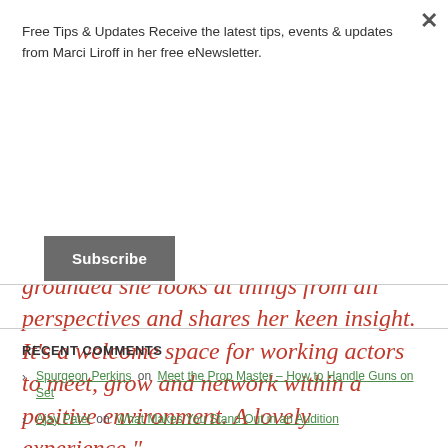Free Tips & Updates Receive the latest tips, events & updates from Marci Liroff in her free eNewsletter.
Subscribe
grounded she looks at things from all perspectives and shares her keen insight. It's a welcome space for working actors to meet, grow and network within a positive environment. A lovely experience."
Cecilia Wyle
RECENT COMMENTS
Spurgeon Perkins on Meet the Prop Master – How to Handle Guns on Set
Ajay Patel on What Makes You Stand Out in an Audition